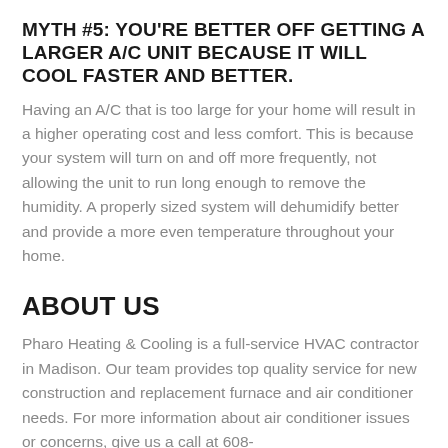MYTH #5: YOU'RE BETTER OFF GETTING A LARGER A/C UNIT BECAUSE IT WILL COOL FASTER AND BETTER.
Having an A/C that is too large for your home will result in a higher operating cost and less comfort. This is because your system will turn on and off more frequently, not allowing the unit to run long enough to remove the humidity. A properly sized system will dehumidify better and provide a more even temperature throughout your home.
ABOUT US
Pharo Heating & Cooling is a full-service HVAC contractor in Madison. Our team provides top quality service for new construction and replacement furnace and air conditioner needs. For more information about air conditioner issues or concerns, give us a call at 608-